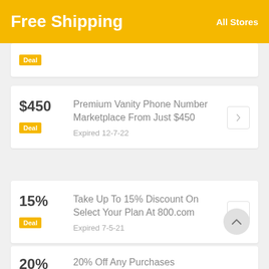Free Shipping
All Stores
$450 | Deal | Premium Vanity Phone Number Marketplace From Just $450 | Expired 12-7-22
15% | Deal | Take Up To 15% Discount On Select Your Plan At 800.com | Expired 7-5-21
20% | 20% Off Any Purchases